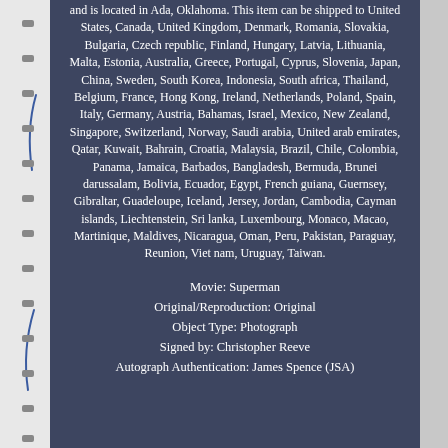and is located in Ada, Oklahoma. This item can be shipped to United States, Canada, United Kingdom, Denmark, Romania, Slovakia, Bulgaria, Czech republic, Finland, Hungary, Latvia, Lithuania, Malta, Estonia, Australia, Greece, Portugal, Cyprus, Slovenia, Japan, China, Sweden, South Korea, Indonesia, South africa, Thailand, Belgium, France, Hong Kong, Ireland, Netherlands, Poland, Spain, Italy, Germany, Austria, Bahamas, Israel, Mexico, New Zealand, Singapore, Switzerland, Norway, Saudi arabia, United arab emirates, Qatar, Kuwait, Bahrain, Croatia, Malaysia, Brazil, Chile, Colombia, Panama, Jamaica, Barbados, Bangladesh, Bermuda, Brunei darussalam, Bolivia, Ecuador, Egypt, French guiana, Guernsey, Gibraltar, Guadeloupe, Iceland, Jersey, Jordan, Cambodia, Cayman islands, Liechtenstein, Sri lanka, Luxembourg, Monaco, Macao, Martinique, Maldives, Nicaragua, Oman, Peru, Pakistan, Paraguay, Reunion, Viet nam, Uruguay, Taiwan.
Movie: Superman
Original/Reproduction: Original
Object Type: Photograph
Signed by: Christopher Reeve
Autograph Authentication: James Spence (JSA)